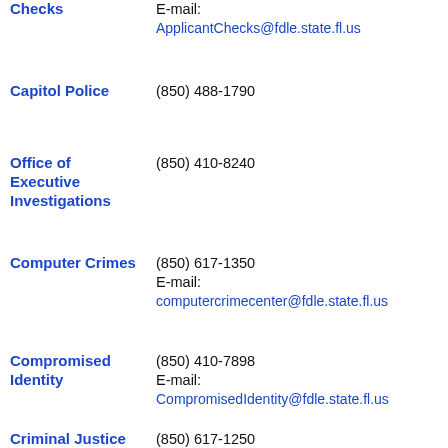Checks
E-mail:
ApplicantChecks@fdle.state.fl.us
Capitol Police
(850) 488-1790
Office of Executive Investigations
(850) 410-8240
Computer Crimes
(850) 617-1350
E-mail:
computercrimecenter@fdle.state.fl.us
Compromised Identity
(850) 410-7898
E-mail:
CompromisedIdentity@fdle.state.fl.us
Criminal Justice
(850) 617-1250